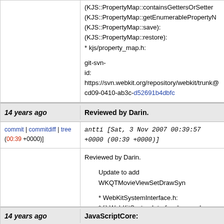(KJS::PropertyMap::containsGettersOrSetters): (KJS::PropertyMap::getEnumerablePropertyN (KJS::PropertyMap::save): (KJS::PropertyMap::restore): * kjs/property_map.h: git-svn-id: https://svn.webkit.org/repository/webkit/trunk@ cd09-0410-ab3c-d52691b4dbfc
14 years ago   Reviewed by Darin.
commit | commitdiff | tree (00:39 +0000)]   antti [Sat, 3 Nov 2007 00:39:57 +0000 (00:39 +0000)]
Reviewed by Darin.

Update to add WKQTMovieViewSetDrawSyn

* WebKitSystemInterface.h:
* libWebKitSystemInterfaceLeopard.a:
* libWebKitSystemInterfaceTiger.a:

git-svn-id: https://svn.webkit.org/repository/webkit/trunk@ cd09-0410-ab3c-d52691b4dbfc
14 years ago   JavaScriptCore: